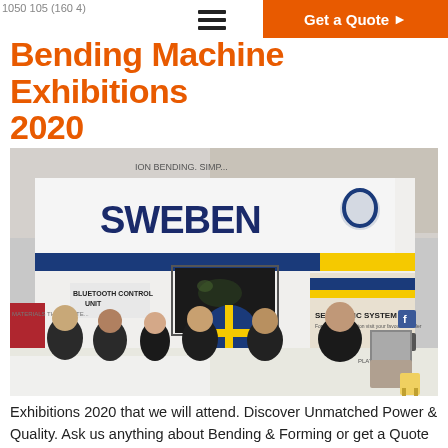Get a Quote ▶
Bending Machine Exhibitions 2020
[Figure (photo): Six Sweben team members in black uniforms standing in front of the Sweben exhibition booth, which displays signage for SEVEN CNC SYSTEM, BLUETOOTH CONTROL UNIT, and MADE IN SWEDEN logo. Exhibition hall setting.]
Exhibitions 2020 that we will attend. Discover Unmatched Power & Quality. Ask us anything about Bending & Forming or get a Quote on a Machine.